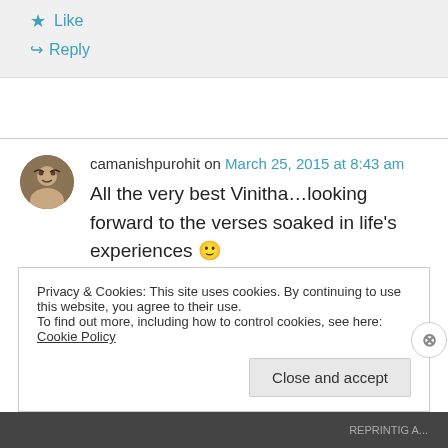★ Like
↪ Reply
camanishpurohit on March 25, 2015 at 8:43 am
All the very best Vinitha…looking forward to the verses soaked in life's experiences 🙂
Privacy & Cookies: This site uses cookies. By continuing to use this website, you agree to their use.
To find out more, including how to control cookies, see here: Cookie Policy
Close and accept